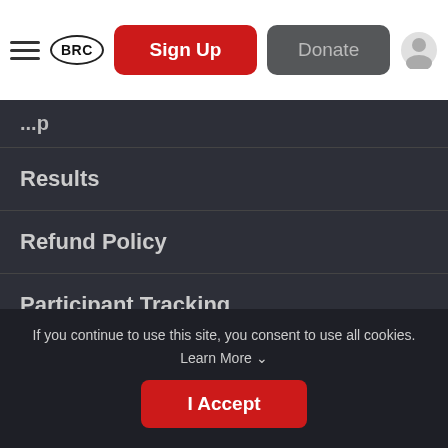BRC | Sign Up | Donate
Results
Refund Policy
Participant Tracking
Event Info
Sponsors
Race Insurance
If you continue to use this site, you consent to use all cookies. Learn More ˅
I Accept